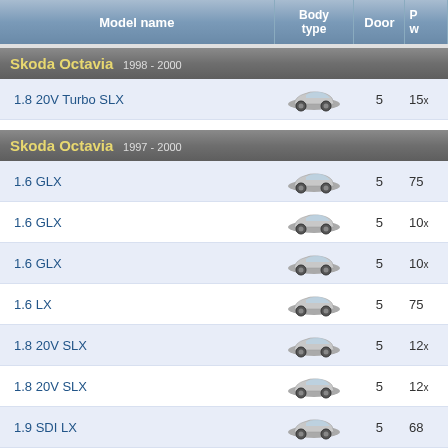| Model name | Body type | Door | P... |
| --- | --- | --- | --- |
| Skoda Octavia 1998 - 2000 |  |  |  |
| 1.8 20V Turbo SLX | [car] | 5 | 15x |
| Skoda Octavia 1997 - 2000 |  |  |  |
| 1.6 GLX | [car] | 5 | 75 |
| 1.6 GLX | [car] | 5 | 10x |
| 1.6 GLX | [car] | 5 | 10x |
| 1.6 LX | [car] | 5 | 75 |
| 1.8 20V SLX | [car] | 5 | 12x |
| 1.8 20V SLX | [car] | 5 | 12x |
| 1.9 SDI LX | [car] | 5 | 68 |
| 1.9 TDI GLX | [car] | 5 | 90 |
| 1.9 TDI SLX | [car] | 5 | 90 |
| 1.9 TDI SLX | [car] | 5 | ... |